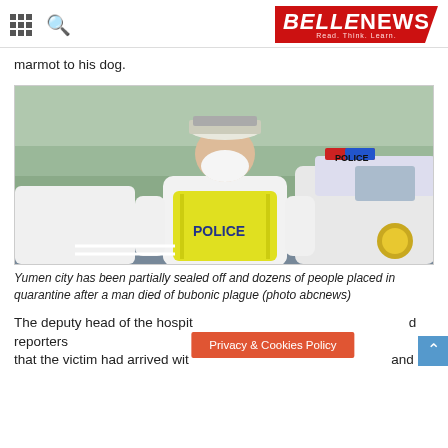BELLENEWS Read. Think. Learn.
marmot to his dog.
[Figure (photo): A police officer wearing a white hazmat suit, yellow reflective vest labeled POLICE, face mask, and white cap, standing in front of a police car on a street with trees in the background.]
Yumen city has been partially sealed off and dozens of people placed in quarantine after a man died of bubonic plague (photo abcnews)
The deputy head of the hospit... d reporters that the victim had arrived wit... and seemed